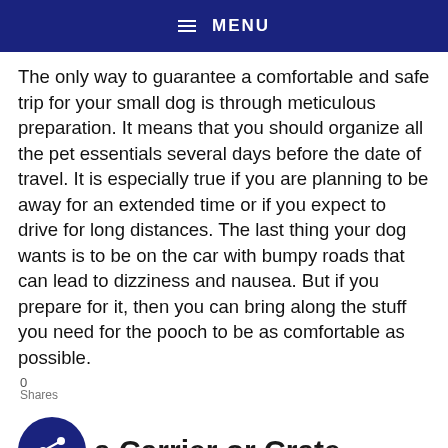MENU
The only way to guarantee a comfortable and safe trip for your small dog is through meticulous preparation. It means that you should organize all the pet essentials several days before the date of travel. It is especially true if you are planning to be away for an extended time or if you expect to drive for long distances. The last thing your dog wants is to be on the car with bumpy roads that can lead to dizziness and nausea. But if you prepare for it, then you can bring along the stuff you need for the pooch to be as comfortable as possible.
a Carrier or Crate